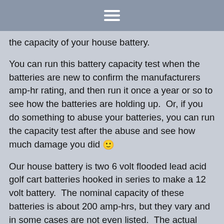≡
the capacity of your house battery.
You can run this battery capacity test when the batteries are new to confirm the manufacturers amp-hr rating, and then run it once a year or so to see how the batteries are holding up.  Or, if you do something to abuse your batteries, you can run the capacity test after the abuse and see how much damage you did 🙂
Our house battery is two 6 volt flooded lead acid golf cart batteries hooked in series to make a 12 volt battery.  The nominal capacity of these batteries is about 200 amp-hrs, but they vary and in some cases are not even listed.  The actual measured capacity of our newish golf cart batteries proved to be far less than the nominal 200 amp-hrs.
The procedure used here could be used to test AGM or flooded lead acid batteries, and with some changes even